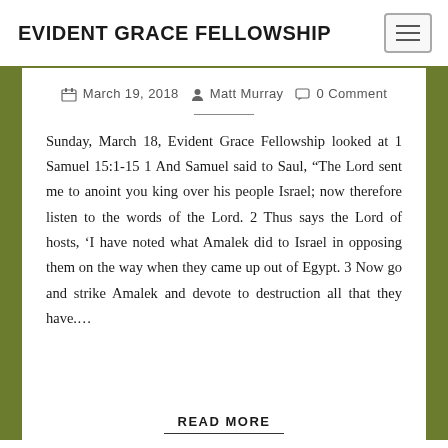EVIDENT GRACE FELLOWSHIP
March 19, 2018  Matt Murray  0 Comment
Sunday, March 18, Evident Grace Fellowship looked at 1 Samuel 15:1-15 1 And Samuel said to Saul, “The Lord sent me to anoint you king over his people Israel; now therefore listen to the words of the Lord. 2 Thus says the Lord of hosts, ‘I have noted what Amalek did to Israel in opposing them on the way when they came up out of Egypt. 3 Now go and strike Amalek and devote to destruction all that they have.…
READ MORE